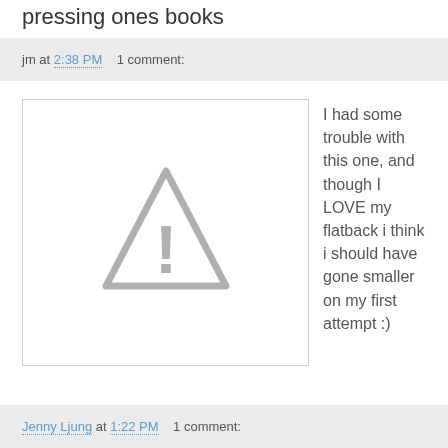pressing ones books
jm at 2:38 PM    1 comment:
[Figure (illustration): Placeholder image with a grey warning triangle and exclamation mark on white background with grey border]
I had some trouble with this one, and though I LOVE my flatback i think i should have gone smaller on my first attempt :)
Jenny Ljung at 1:22 PM    1 comment: